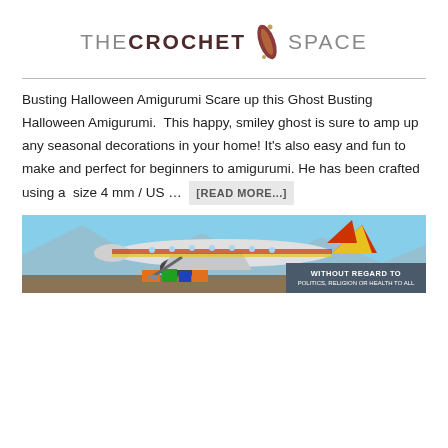THE CROCHET SPACE
Busting Halloween Amigurumi Scare up this Ghost Busting Halloween Amigurumi. This happy, smiley ghost is sure to amp up any seasonal decorations in your home! It's also easy and fun to make and perfect for beginners to amigurumi. He has been crafted using a size 4 mm / US ... [READ MORE...]
[Figure (photo): Advertisement banner showing an airplane being loaded with cargo, with overlay text reading WITHOUT REGARD TO POLITICS, RELIGION OR HEALTH TO ALL]